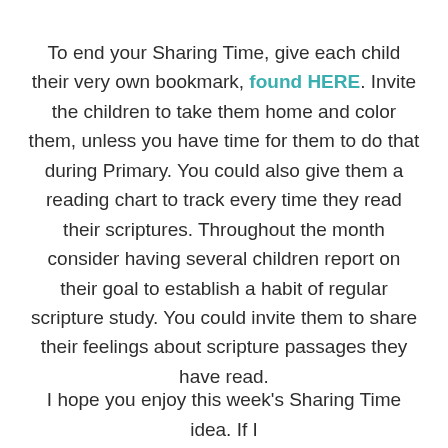To end your Sharing Time, give each child their very own bookmark, found HERE. Invite the children to take them home and color them, unless you have time for them to do that during Primary. You could also give them a reading chart to track every time they read their scriptures. Throughout the month consider having several children report on their goal to establish a habit of regular scripture study. You could invite them to share their feelings about scripture passages they have read.
I hope you enjoy this week's Sharing Time idea. If I